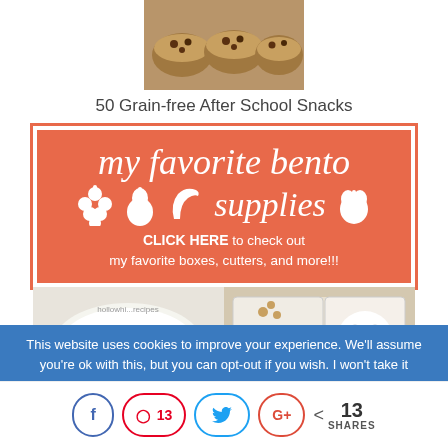[Figure (photo): Photo of chocolate chip muffins from above]
50 Grain-free After School Snacks
[Figure (infographic): Coral/salmon colored banner ad for 'my favorite bento supplies' with fruit icons and text: CLICK HERE to check out my favorite boxes, cutters, and more!!!]
[Figure (photo): Food photo strip showing a plate with strawberries and other snacks on the left, and a bento box with animal-shaped snacks on the right]
This website uses cookies to improve your experience. We'll assume you're ok with this, but you can opt-out if you wish. I won't take it
f   13   [Twitter bird]   G+   < 13 SHARES